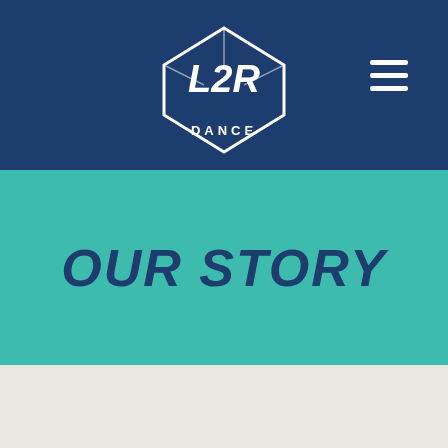[Figure (logo): L2R Dance logo in white on dark blue background with hamburger menu icon]
OUR STORY
THE L2R STORY
L2R Dance was established in 2009, and was formed from dance classes run by Jacinda Richards at the Western English Language School (WELS) in Braybrook in Melbourne's west. The classes gave the young people a fun and social aspect to their learning, and offered an opportunity to make friends and connect through the universal language of dance in a safe and supportive environment. As the young people graduated from WELS and moved into mainstream schools, they expressed a strong desire to be able to continue with their dance